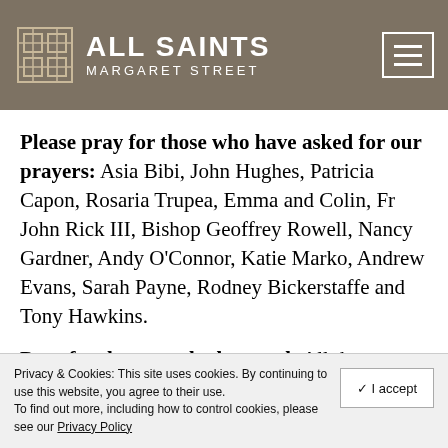ALL SAINTS MARGARET STREET
Please pray for those who have asked for our prayers: Asia Bibi, John Hughes, Patricia Capon, Rosaria Trupea, Emma and Colin, Fr John Rick III, Bishop Geoffrey Rowell, Nancy Gardner, Andy O’Connor, Katie Marko, Andrew Evans, Sarah Payne, Rodney Bickerstaffe and Tony Hawkins.
Pray for the recently departed: All the
Privacy & Cookies: This site uses cookies. By continuing to use this website, you agree to their use. To find out more, including how to control cookies, please see our Privacy Policy